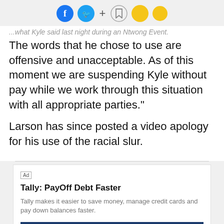[Figure (other): Social media sharing icons bar: Facebook (blue circle), Twitter (cyan circle), plus sign, bookmark icon, two yellow circles]
...what Kyle said last night during an Ntwong Event. The words that he chose to use are offensive and unacceptable. As of this moment we are suspending Kyle without pay while we work through this situation with all appropriate parties."
Larson has since posted a video apology for his use of the racial slur.
[Figure (other): Advertisement: Tally: PayOff Debt Faster. Tally makes it easier to save money, manage credit cards and pay down balances faster. INSTALL! button. Tally Technologies, Inc.]